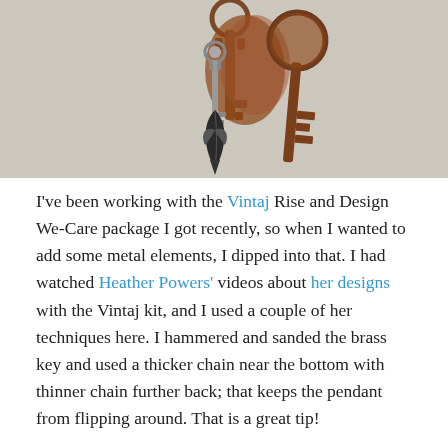[Figure (photo): Photo of vintage keys and a decorative metal charm/pendant on a linen-textured background. A large rusty brown skeleton key, a smaller ornate silver key, and a dark metal arrowhead or leaf charm hanging together on a ring.]
I've been working with the Vintaj Rise and Design WeCare package I got recently, so when I wanted to add some metal elements, I dipped into that. I had watched Heather Powers' videos about her designs with the Vintaj kit, and I used a couple of her techniques here. I hammered and sanded the brass key and used a thicker chain near the bottom with thinner chain further back; that keeps the pendant from flipping around. That is a great tip!